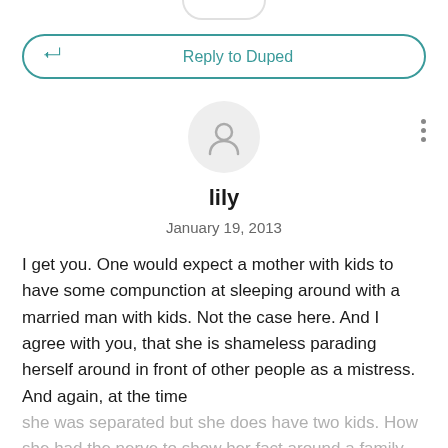[Figure (other): Reply input bar with teal arrow icon and 'Reply to Duped' text]
[Figure (other): User avatar circle with person icon and three-dot menu]
lily
January 19, 2013
I get you. One would expect a mother with kids to have some compunction at sleeping around with a married man with kids. Not the case here. And I agree with you, that she is shameless parading herself around in front of other people as a mistress. And again, at the time she was separated but she does have two kids. How she had the nerve to show her fact around a family